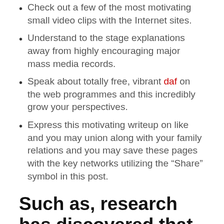Check out a few of the most motivating small video clips with the Internet sites.
Understand to the stage explanations away from highly encouraging major mass media records.
Speak about totally free, vibrant daf on the web programmes and this incredibly grow your perspectives.
Express this motivating writeup on like and you may union along with your family relations and you may save these pages with the key networks utilizing the “Share” symbol in this post.
Such as, research has discovered that students invested in heterosexual relationship dating evaluated an appealing opposite-gender people